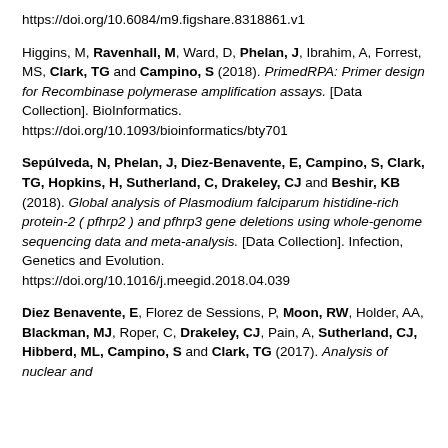https://doi.org/10.6084/m9.figshare.8318861.v1
Higgins, M, Ravenhall, M, Ward, D, Phelan, J, Ibrahim, A, Forrest, MS, Clark, TG and Campino, S (2018). PrimedRPA: Primer design for Recombinase polymerase amplification assays. [Data Collection]. BioInformatics. https://doi.org/10.1093/bioinformatics/bty701
Sepúlveda, N, Phelan, J, Diez-Benavente, E, Campino, S, Clark, TG, Hopkins, H, Sutherland, C, Drakeley, CJ and Beshir, KB (2018). Global analysis of Plasmodium falciparum histidine-rich protein-2 (pfhrp2) and pfhrp3 gene deletions using whole-genome sequencing data and meta-analysis. [Data Collection]. Infection, Genetics and Evolution. https://doi.org/10.1016/j.meegid.2018.04.039
Diez Benavente, E, Florez de Sessions, P, Moon, RW, Holder, AA, Blackman, MJ, Roper, C, Drakeley, CJ, Pain, A, Sutherland, CJ, Hibberd, ML, Campino, S and Clark, TG (2017). Analysis of nuclear and...